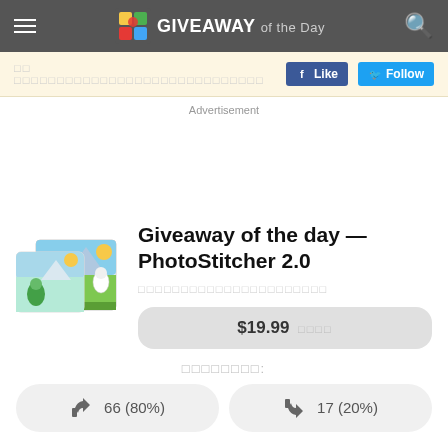GIVEAWAY of the Day
□□ □□□□□□□□□□□□□□□□□□□□□□□□□
Advertisement
[Figure (photo): PhotoStitcher 2.0 application icon showing photo collage with birds and nature scenes]
Giveaway of the day — PhotoStitcher 2.0
□□□□□□□□□□□□□□□□□□□□□□
$19.99 □□□□
□□□□□□□□:
66 (80%)
17 (20%)